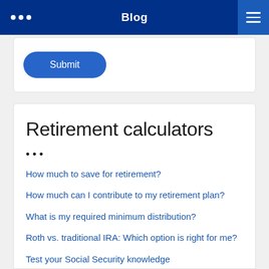Blog
Submit
Retirement calculators
•••
How much to save for retirement?
How much can I contribute to my retirement plan?
What is my required minimum distribution?
Roth vs. traditional IRA: Which option is right for me?
Test your Social Security knowledge